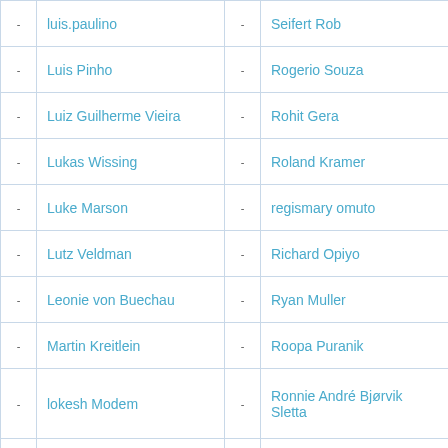|  | Name (Left) |  | Name (Right) |
| --- | --- | --- | --- |
| - | luis.paulino | - | Seifert Rob |
| - | Luis Pinho | - | Rogerio Souza |
| - | Luiz Guilherme Vieira | - | Rohit Gera |
| - | Lukas Wissing | - | Roland Kramer |
| - | Luke Marson | - | regismary omuto |
| - | Lutz Veldman | - | Richard Opiyo |
| - | Leonie von Buechau | - | Ryan Muller |
| - | Martin Kreitlein | - | Roopa Puranik |
| - | lokesh Modem | - | Ronnie André Bjørvik Sletta |
| - | ... | - | ... |